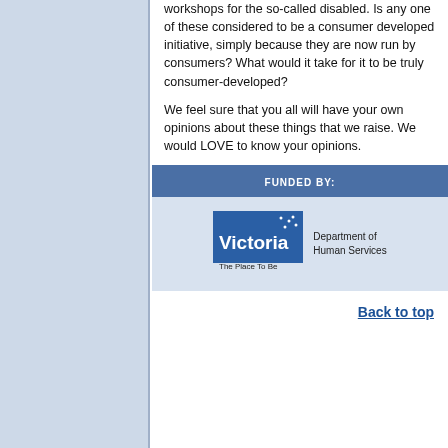workshops for the so-called disabled. Is any one of these considered to be a consumer developed initiative, simply because they are now run by consumers? What would it take for it to be truly consumer-developed?
We feel sure that you all will have your own opinions about these things that we raise. We would LOVE to know your opinions.
[Figure (logo): Funded By box with Victoria Department of Human Services logo. Header reads FUNDED BY: in white on blue background. Below is the Victoria - The Place To Be logo with Department of Human Services text.]
Back to top